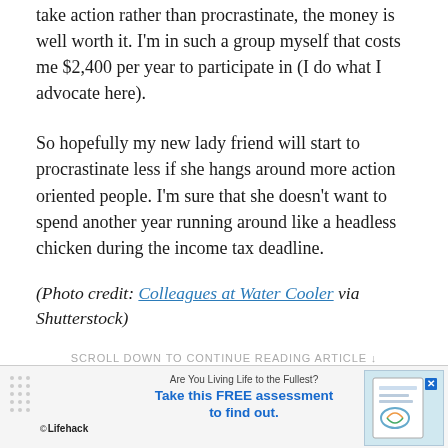take action rather than procrastinate, the money is well worth it. I'm in such a group myself that costs me $2,400 per year to participate in (I do what I advocate here).
So hopefully my new lady friend will start to procrastinate less if she hangs around more action oriented people. I'm sure that she doesn't want to spend another year running around like a headless chicken during the income tax deadline.
(Photo credit: Colleagues at Water Cooler via Shutterstock)
SCROLL DOWN TO CONTINUE READING ARTICLE ↓
[Figure (other): Lifehack advertisement banner: 'Are You Living Life to the Fullest? Take this FREE assessment to find out.' with a document image thumbnail and a close button.]